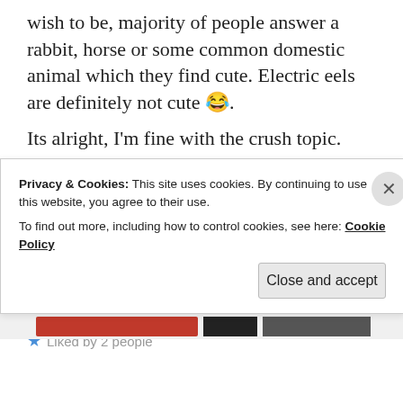wish to be, majority of people answer a rabbit, horse or some common domestic animal which they find cute. Electric eels are definitely not cute 😂.
Its alright, I'm fine with the crush topic. Well I've never had a celebrity crush nor will I have one, so that's why I answered it that way.
It's always so nice to hear from you!😊
Once again my sincere thanks for the nomination.
⭐ Liked by 2 people
Privacy & Cookies: This site uses cookies. By continuing to use this website, you agree to their use. To find out more, including how to control cookies, see here: Cookie Policy
Close and accept